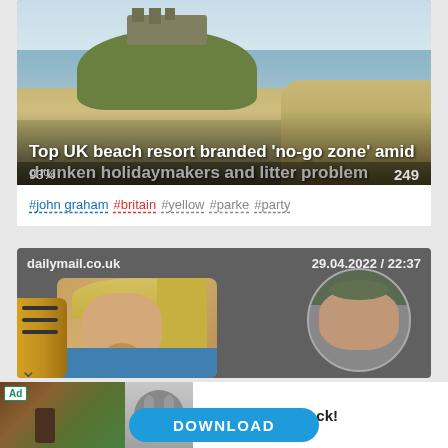[Figure (photo): Coastal castle on a rocky headland with sandy beach and sea]
Top UK beach resort branded 'no-go zone' amid drunken holidaymakers and litter problem
93%  249
#john graham #britain #yellow #parke #party
[Figure (photo): Article card from dailymail.co.uk dated 29.04.2022 / 22:37 showing two people]
[Figure (photo): Advertisement: Join the wolf pack! with game and wolf imagery]
Join the wolf pack!
DOWNLOAD